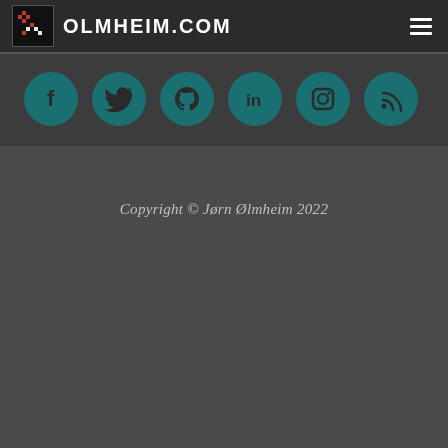OLMHEIM.COM
[Figure (infographic): Six teal social media icon circles: Facebook (f), Twitter (bird), GitHub (octocat), LinkedIn (in), Instagram (camera), RSS (feed)]
Copyright © Jørn Ølmheim 2022